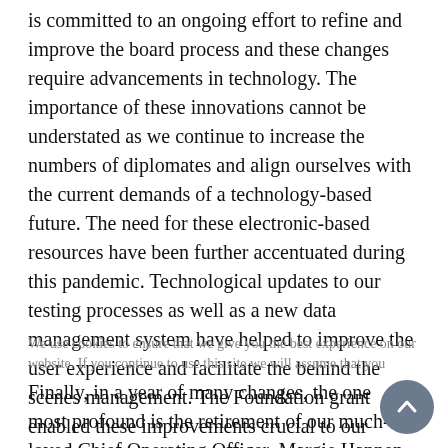is committed to an ongoing effort to refine and improve the board process and these changes require advancements in technology. The importance of these innovations cannot be understated as we continue to increase the numbers of diplomates and align ourselves with the current demands of a technology-based future. The need for these electronic-based resources have been further accentuated during this pandemic. Technological updates to our testing processes as well as a new data management system have helped to improve the user experience and facilitate the behind the scenes management. The Foundation grant enabled these improvements crucial to our growth and we thank them for their generous support of current and future board-certified endodontists.
We use cookies to ensure that we give you the best experience on our website. If you continue to use this site we will assume that you
Finally, in a year of many changes, the one most profound is the retirement of our much-loved Chief Operating Officer, Margie Hannen. For many of us,